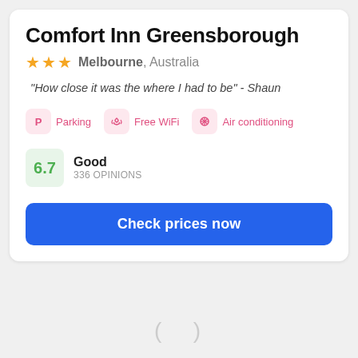Comfort Inn Greensborough
★★★ Melbourne, Australia
"How close it was the where I had to be" - Shaun
Parking   Free WiFi   Air conditioning
6.7 Good 336 OPINIONS
Check prices now
[Figure (screenshot): Loading placeholder card with spinner parentheses ( ) on grey background]